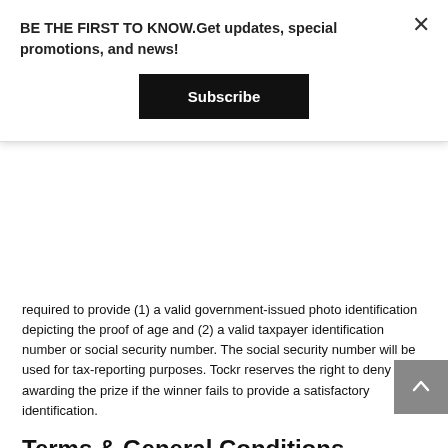BE THE FIRST TO KNOW.Get updates, special promotions, and news!
Subscribe
required to provide (1) a valid government-issued photo identification depicting the proof of age and (2) a valid taxpayer identification number or social security number. The social security number will be used for tax-reporting purposes. Tockr reserves the right to deny awarding the prize if the winner fails to provide a satisfactory identification.
Terms & General Conditions
Tockr reserves the right to cancel, terminate, modify or sus the Contest should virus, bug, non-authorized human intervention, fraud, or any other cause affect the administration, security, fairness, or proper conduct of the Contest. If such case occurs. Tockr may select the Winner from all eligible entries. Any